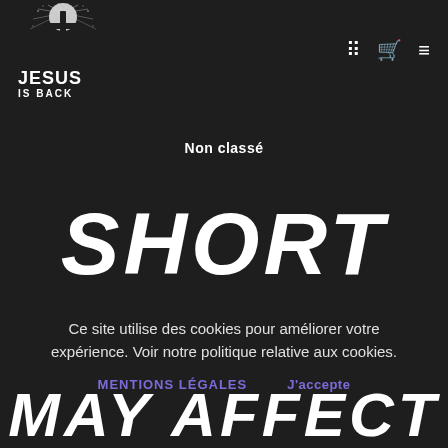[Figure (logo): Jesus Is Back logo with white cross and starburst on dark background, bold white text JESUS IS BACK]
Non classé
SHORT
Ce site utilise des cookies pour améliorer votre expérience. Voir notre politique relative aux cookies.
MENTIONS LÉGALES    J'accepte
MAY AFFECT